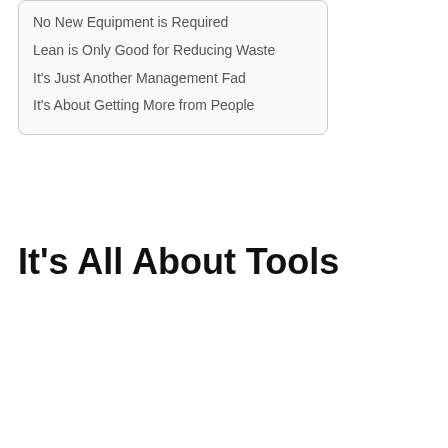No New Equipment is Required
Lean is Only Good for Reducing Waste
It's Just Another Management Fad
It's About Getting More from People
It's All About Tools